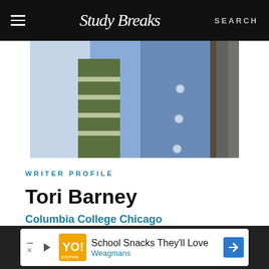Study Breaks — SEARCH
[Figure (photo): Partial photo of a person wearing a denim jumper/overalls over a green and white striped long-sleeve top, outdoors near a tree]
WRITER PROFILE
Tori Barney
Columbia College Chicago
Creative Writing
[Figure (logo): Instagram icon — pink/red rounded square with camera icon]
[Figure (logo): Dark blue circle social media icon (partially visible)]
School Snacks They'll Love
Weagmans